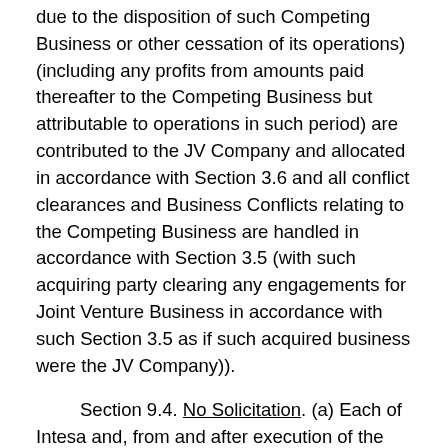due to the disposition of such Competing Business or other cessation of its operations) (including any profits from amounts paid thereafter to the Competing Business but attributable to operations in such period) are contributed to the JV Company and allocated in accordance with Section 3.6 and all conflict clearances and Business Conflicts relating to the Competing Business are handled in accordance with Section 3.5 (with such acquiring party clearing any engagements for Joint Venture Business in accordance with such Section 3.5 as if such acquired business were the JV Company)).
Section 9.4. No Solicitation. (a) Each of Intesa and, from and after execution of the CB Acknowledgement, the Corporate Bank covenants and agrees not to, and to cause its subsidiaries and other controlled affiliates not to, engage in any Lazard Soliciting Activities, for the applicable Solicitation Period. Each of Lazard and the JV Company covenants and agrees not to, and to cause its